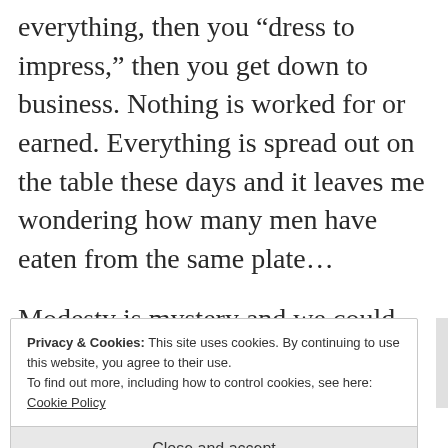everything, then you “dress to impress,” then you get down to business. Nothing is worked for or earned. Everything is spread out on the table these days and it leaves me wondering how many men have eaten from the same plate…
Modesty is mystery and we could use a little more mystery in the world.
Privacy & Cookies: This site uses cookies. By continuing to use this website, you agree to their use.
To find out more, including how to control cookies, see here:
Cookie Policy
Close and accept
Learn